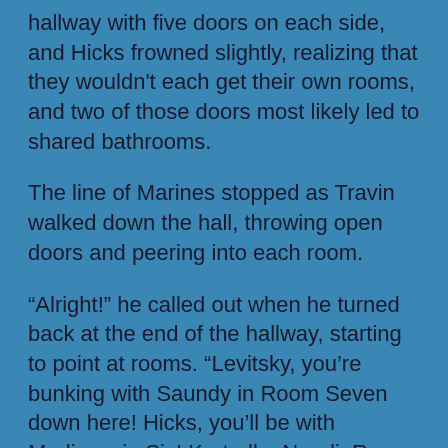hallway with five doors on each side, and Hicks frowned slightly, realizing that they wouldn't each get their own rooms, and two of those doors most likely led to shared bathrooms.
The line of Marines stopped as Travin walked down the hall, throwing open doors and peering into each room.
“Alright!” he called out when he turned back at the end of the hallway, starting to point at rooms. “Levitsky, you’re bunking with Saundy in Room Seven down here! Hicks, you’ll be with Medinow in Six! Kartrella, Nandi, Room Five! Alston, with Latchett in Four, Sapatti and Whittaker in Three, Moss has Two, and I’ll take Room One! Move,